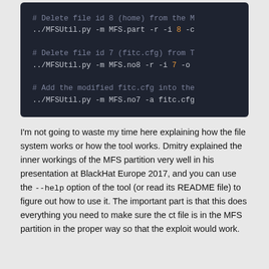[Figure (screenshot): Dark-themed code block showing MFSUtil.py shell commands: deleting file id 8 (home) from MFS.part partition, deleting file id 7 (fitc.cfg) from MFS.no8, and adding modified fitc.cfg into MFS.no7.]
I'm not going to waste my time here explaining how the file system works or how the tool works. Dmitry explained the inner workings of the MFS partition very well in his presentation at BlackHat Europe 2017, and you can use the --help option of the tool (or read its README file) to figure out how to use it. The important part is that this does everything you need to make sure the ct file is in the MFS partition in the proper way so that the exploit would work.